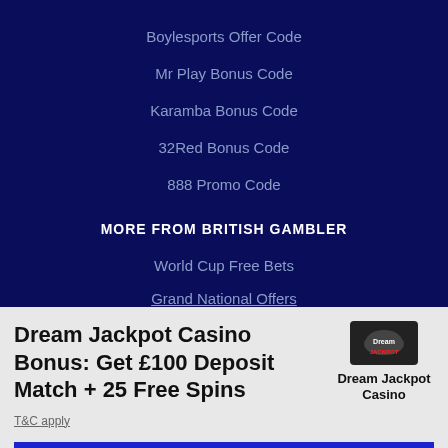Boylesports Offer Code
Mr Play Bonus Code
Karamba Bonus Code
32Red Bonus Code
888 Promo Code
MORE FROM BRITISH GAMBLER
World Cup Free Bets
Grand National Offers
Dream Jackpot Casino Bonus: Get £100 Deposit Match + 25 Free Spins
T&C apply
GET BONUS